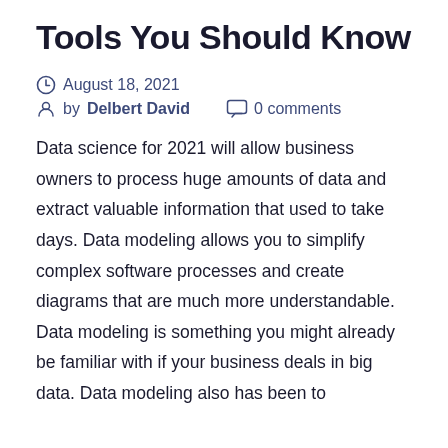Tools You Should Know
August 18, 2021
by Delbert David   0 comments
Data science for 2021 will allow business owners to process huge amounts of data and extract valuable information that used to take days. Data modeling allows you to simplify complex software processes and create diagrams that are much more understandable. Data modeling is something you might already be familiar with if your business deals in big data. Data modeling also has been to